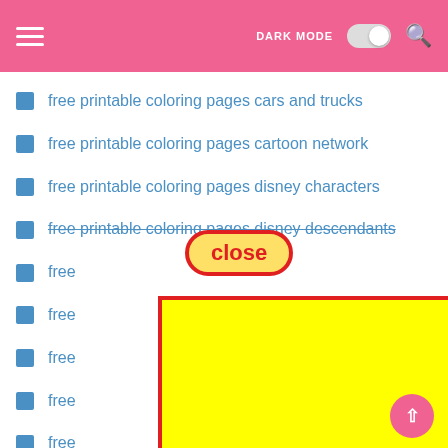Navigation bar with hamburger menu, DARK MODE toggle, and search icon
free printable coloring pages cars and trucks
free printable coloring pages cartoon network
free printable coloring pages disney characters
free printable coloring pages disney descendants
free [obscured]
free [obscured]
free [obscured] ncess
free [obscured]
free [obscured]
free [obscured] es
free [obscured]
[Figure (screenshot): Yellow advertisement overlay box with red border covering the lower portion of the list. A 'close' button bubble in red and yellow appears above it.]